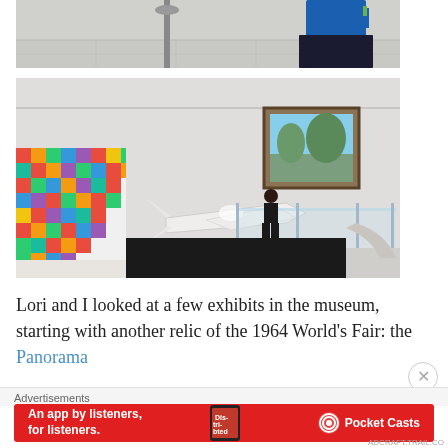[Figure (photo): Partial photo of a person in a blue top and dark skirt walking in a building interior with tiled floor and stanchion poles]
[Figure (photo): Interior of a museum showing a large white sculptural airplane form mounted on the wall, a colorful pixel-art style display on the left, a framed painting, glass railings and a staircase, and a person walking]
Lori and I looked at a few exhibits in the museum, starting with another relic of the 1964 World’s Fair: the Panorama
Advertisements
[Figure (other): Advertisement banner: An app by listeners, for listeners. Pocket Casts. Red background with phone graphic showing Distributed text.]